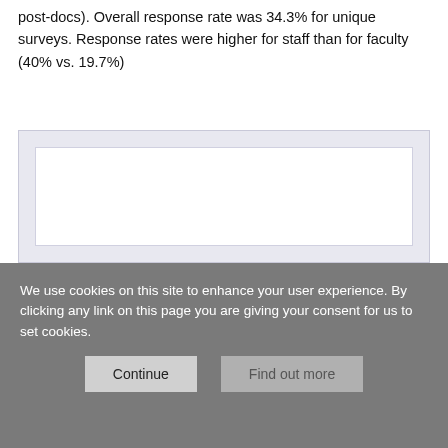post-docs). Overall response rate was 34.3% for unique surveys. Response rates were higher for staff than for faculty (40% vs. 19.7%)
[Figure (other): Empty white figure/chart area with light blue-grey border, content not visible (obscured by cookie consent overlay)]
We use cookies on this site to enhance your user experience. By clicking any link on this page you are giving your consent for us to set cookies.